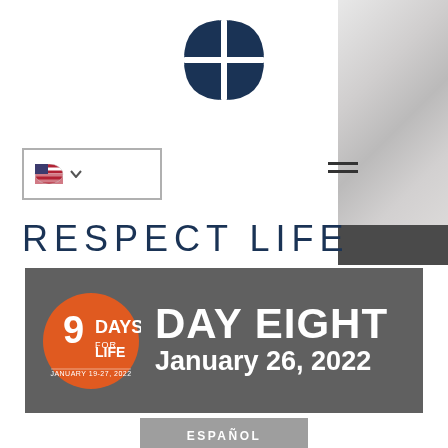[Figure (logo): USCCB cross logo in dark navy blue — a circle divided into four quadrants by a cross]
[Figure (other): US flag icon with dropdown arrow inside a rectangular border — language selector]
[Figure (other): Hamburger menu icon (three horizontal lines)]
RESPECT LIFE
[Figure (other): Dark gray banner with 9 Days for Life orange badge logo (JANUARY 19-27, 2022) and white bold text: DAY EIGHT / January 26, 2022]
ESPAÑOL
[Figure (photo): Photo of a person looking at ultrasound images with 9 Days for Life logo watermark in upper right]